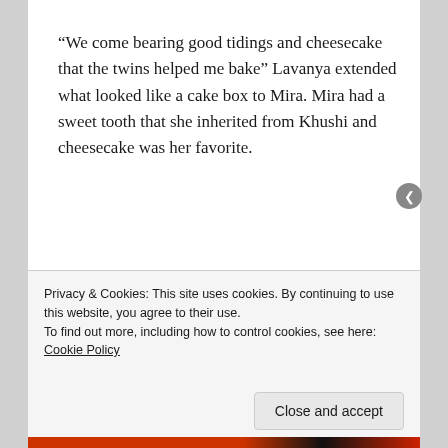“We come bearing good tidings and cheesecake that the twins helped me bake” Lavanya extended what looked like a cake box to Mira. Mira had a sweet tooth that she inherited from Khushi and cheesecake was her favorite.
“Thank you Masilav” Mira threw her arms around Lavanya’s waist, gave her a quick squeeze and
Privacy & Cookies: This site uses cookies. By continuing to use this website, you agree to their use.
To find out more, including how to control cookies, see here: Cookie Policy